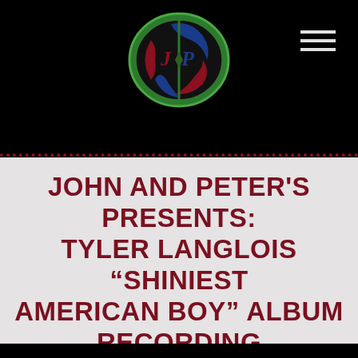[Figure (logo): John and Peter's oval logo with stylized 'JP' letters in red and blue on a green and black background]
JOHN AND PETER'S PRESENTS: TYLER LANGLOIS “SHINIEST AMERICAN BOY” ALBUM RECORDING